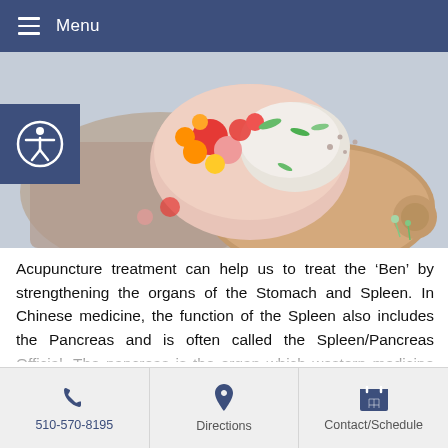Menu
[Figure (photo): Overhead photo of a colorful healthy food bowl with tomatoes, vegetables, and grains on a wooden cutting board with a linen cloth background.]
Acupuncture treatment can help us to treat the ‘Ben’ by strengthening the organs of the Stomach and Spleen. In Chinese medicine, the function of the Spleen also includes the Pancreas and is often called the Spleen/Pancreas Official. The pancreas is the organ which western medicine understands to produce insulin, which regulates blood sugar levels. When the Spleen meridian organ system is out of balance, it tends towards deficiency and weakness. When the Spleen is no longer
510-570-8195 | Directions | Contact/Schedule